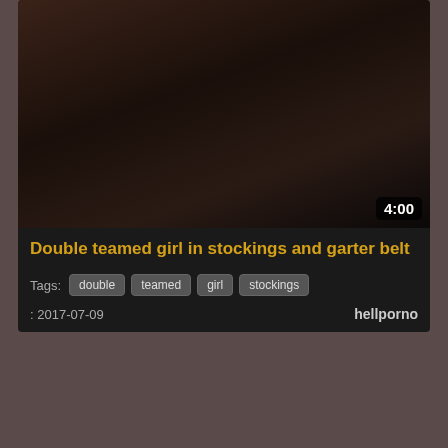[Figure (photo): Video thumbnail for first video card showing dark bedroom scene]
Double teamed girl in stockings and garter belt
Tags: double  teamed  girl  stockings
2017-07-09    hellporno
[Figure (photo): Video thumbnail showing woman lying on bed in pink shirt and black pantyhose]
Pantyhosed Oriental lady relinquishes her fabulous body to
Tags: pantyhosed  oriental  lady  relinquishes